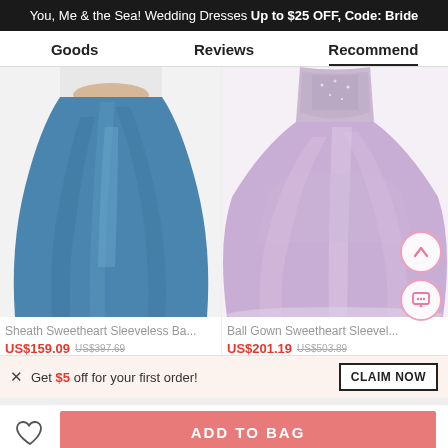You, Me & the Sea! Wedding Dresses Up to $25 OFF, Code: Bride
Goods  Reviews  Recommend
[Figure (photo): Sheath Sweetheart Sleeveless blue floor-length gown worn by a model]
[Figure (photo): Ball Gown Sweetheart Sleeveless lavender/purple tulle ball gown worn by a model]
Sheath Sweetheart Sleeveless Ba...
US$159.09  US$397.69
Ball Gown Sweetheart Sleevel...
US$201.19  US$503.89
× Get $5 off for your first order!  CLAIM NOW
ADD TO BAG